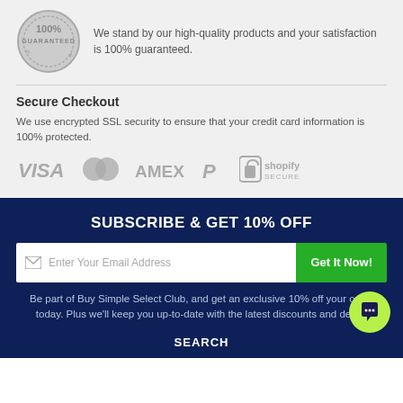[Figure (logo): Circular 100% Guaranteed badge/seal in grey tones]
We stand by our high-quality products and your satisfaction is 100% guaranteed.
Secure Checkout
We use encrypted SSL security to ensure that your credit card information is 100% protected.
[Figure (logo): Payment logos: VISA, Mastercard, AMEX, PayPal, Shopify Secure]
SUBSCRIBE & GET 10% OFF
Enter Your Email Address
Get It Now!
Be part of Buy Simple Select Club, and get an exclusive 10% off your order today. Plus we'll keep you up-to-date with the latest discounts and deals.
SEARCH